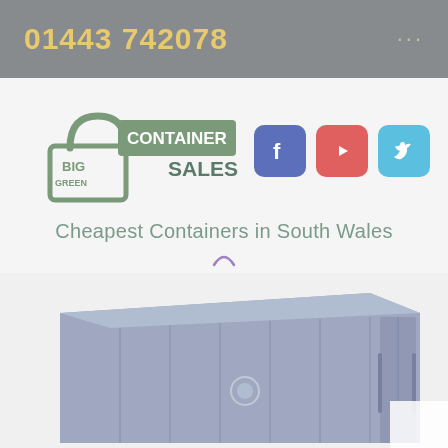01443 742078    ...
[Figure (logo): Big Green Container Sales Wales logo with lock icon graphic, plus Facebook, YouTube, and Twitter social media icons]
Cheapest Containers in South Wales
[Figure (photo): Blue/grey shipping container photograph, showing side and top angle view]